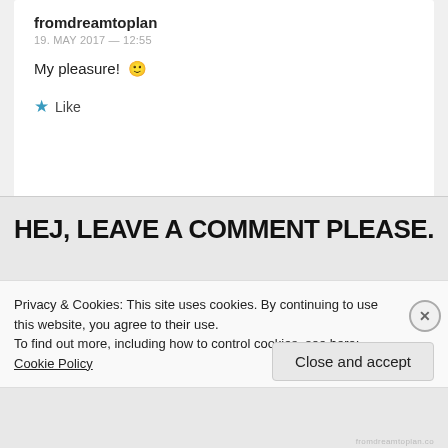fromdreamtoplan
19. MAY 2017 — 12:55
My pleasure! 🙂
Like
HEJ, LEAVE A COMMENT PLEASE.
Privacy & Cookies: This site uses cookies. By continuing to use this website, you agree to their use.
To find out more, including how to control cookies, see here: Cookie Policy
Close and accept